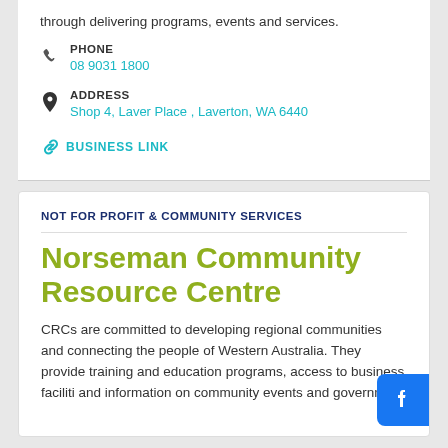through delivering programs, events and services.
PHONE
08 9031 1800
ADDRESS
Shop 4, Laver Place , Laverton, WA 6440
BUSINESS LINK
NOT FOR PROFIT & COMMUNITY SERVICES
Norseman Community Resource Centre
CRCs are committed to developing regional communities and connecting the people of Western Australia. They provide training and education programs, access to business facilities and information on community events and government